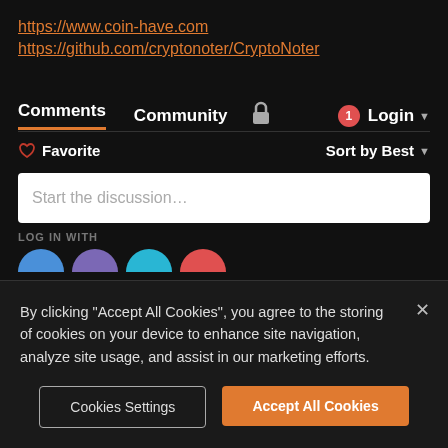https://www.coin-have.com
https://github.com/cryptonoter/CryptoNoter
Comments  Community  🔒  1  Login
♡ Favorite  Sort by Best
Start the discussion...
LOG IN WITH
By clicking "Accept All Cookies", you agree to the storing of cookies on your device to enhance site navigation, analyze site usage, and assist in our marketing efforts.
Cookies Settings
Accept All Cookies